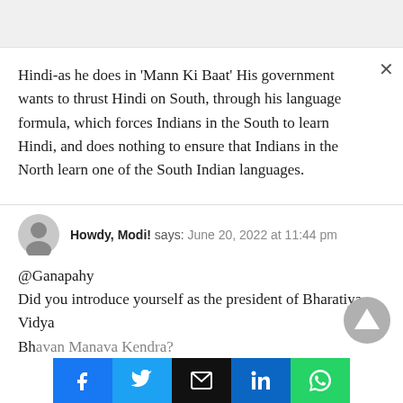Hindi-as he does in 'Mann Ki Baat' His government wants to thrust Hindi on South, through his language formula, which forces Indians in the South to learn Hindi, and does nothing to ensure that Indians in the North learn one of the South Indian languages.
Howdy, Modi! says: June 20, 2022 at 11:44 pm
@Ganapahy
Did you introduce yourself as the president of Bharatiya Vidya Bhavan Manava Kendra?